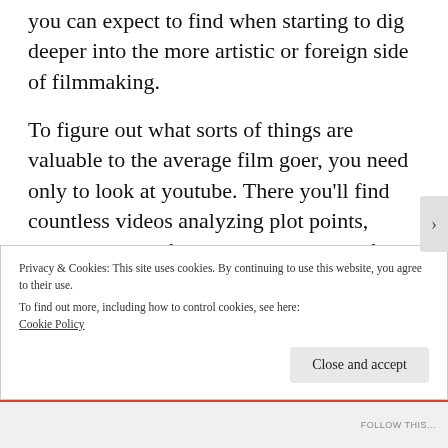you can expect to find when starting to dig deeper into the more artistic or foreign side of filmmaking.
To figure out what sorts of things are valuable to the average film goer, you need only to look at youtube. There you'll find countless videos analyzing plot points, characters, and franchises. The types of films that are currently popular, and really that have almost always been popular, tend to revolve around these
Privacy & Cookies: This site uses cookies. By continuing to use this website, you agree to their use.
To find out more, including how to control cookies, see here: Cookie Policy
Close and accept